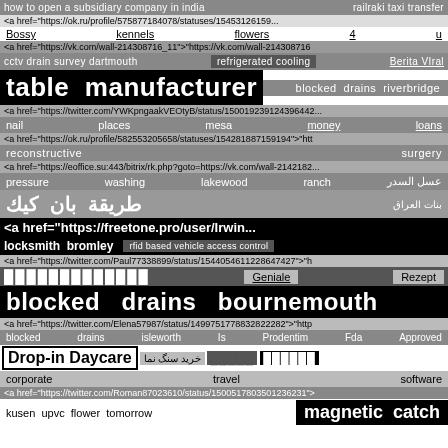how to open a subsidiary company in india railraki taxi transfer
<a href="https://ok.ru/profile/575877184078/statuses/154531261 59">
Bossy kennels flowers 4 u
<a href="https://vk.com/wall-214308716_11">"https://vk.com/wall-214308716
cctv drain survey dartmouth refrigerated cooling Berita VIral
table manufacturer blocked drains riverbridge
<a href="https://twitter.com/YWKpngaakVEOtyB/status/15001923912439644 2
nail places mesa money loans
<a href="https://ok.ru/profile/582553205658/statuses/154281887159194">"htt
reconstructive surgery
<a href="https://eoffice.su:443/bitrix/rk.php?goto=https://vk.com/wall-2142182...
pressure washing lakewood ranch عسل السدر
طريقة بان كيك بنات العراق
<a href="https://freetone.pro/user/Irwin...
locksmith bromley rfid based vehicle access control
<a href="https://twitter.com/Paul77338899/status/1544054611228647427">"h
████████████ Geniale Rezept
blocked drains bournemouth
<a href="https://twitter.com/Elena57987/status/1499751778832822282">"http
blocked drains isleworth Is Prodentim Fda Approved
Drop-in Daycare خرید سنگ نما █████ ██████
corporate travel software
<a href="https://twitter.com/Roman87023610/status/1500517803501236231">
kusen upvc flower tomorrow magnetic catch